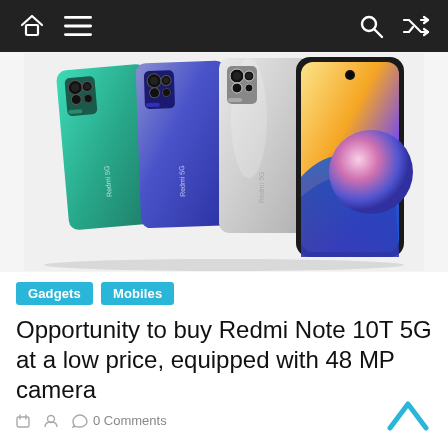Navigation bar with home, menu, search, and shuffle icons
[Figure (photo): Three Redmi Note 10T 5G smartphones shown from the back in green, blue, and silver/chrome colors, plus one phone shown from the front displaying a colorful wallpaper with a glowing sphere on a dark background.]
Gadgets   Mobiles
Opportunity to buy Redmi Note 10T 5G at a low price, equipped with 48 MP camera
0 Comments